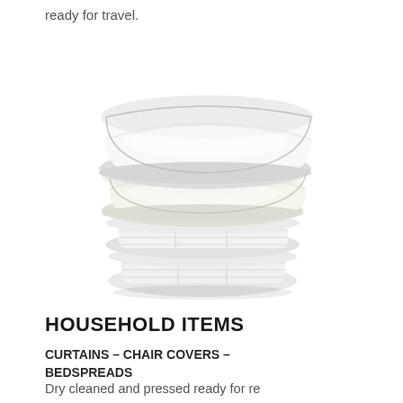ready for travel.
[Figure (photo): Stack of white pillows and folded white bedding/duvets arranged neatly on top of each other]
HOUSEHOLD ITEMS
CURTAINS – CHAIR COVERS – BEDSPREADS
Dry cleaned and pressed ready for re